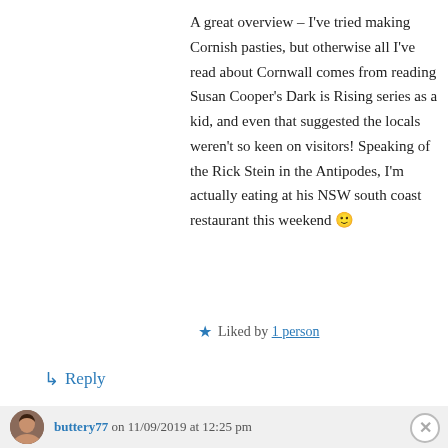A great overview – I've tried making Cornish pasties, but otherwise all I've read about Cornwall comes from reading Susan Cooper's Dark is Rising series as a kid, and even that suggested the locals weren't so keen on visitors! Speaking of the Rick Stein in the Antipodes, I'm actually eating at his NSW south coast restaurant this weekend 🙂
★ Liked by 1 person
↳ Reply
buttery77 on 11/09/2019 at 12:25 pm
[Figure (screenshot): Advertisement banner for Victoria's Secret: pink background with logo and 'SHOP THE COLLECTION' text and 'SHOP NOW' button, with a model photo on the left.]